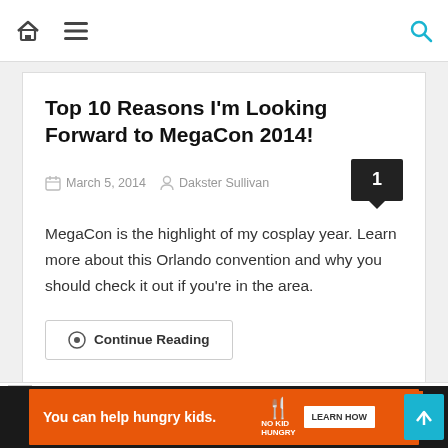Navigation bar with home icon, menu icon, search icon
Top 10 Reasons I'm Looking Forward to MegaCon 2014!
March 5, 2014   Dakster Sullivan
MegaCon is the highlight of my cosplay year. Learn more about this Orlando convention and why you should check it out if you're in the area.
Continue Reading
[Figure (screenshot): Broken image placeholder at bottom of page]
You can help hungry kids. No Kid Hungry LEARN HOW